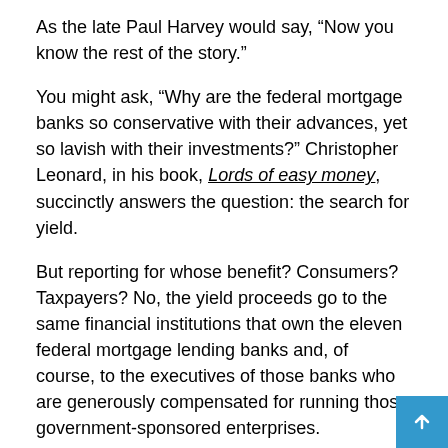As the late Paul Harvey would say, “Now you know the rest of the story.”
You might ask, “Why are the federal mortgage banks so conservative with their advances, yet so lavish with their investments?” Christopher Leonard, in his book, “Lords of easy money”, succinctly answers the question: the search for yield.
But reporting for whose benefit? Consumers? Taxpayers? No, the yield proceeds go to the same financial institutions that own the eleven federal mortgage lending banks and, of course, to the executives of those banks who are generously compensated for running those government-sponsored enterprises.
This explains why bankers are so enamored with the system and why, unsurprisingly, the system’s generous dividends were not mentioned in the article. For the banks that own them, mortgage banks are a reliable source of dividend income. This is a very simple business model: borrow funds in the capital markets at below-market rates, subsidized by taxpayers, and